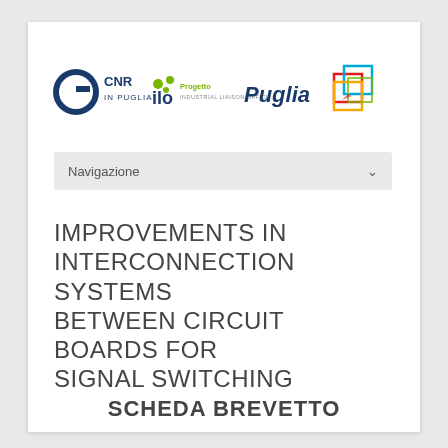[Figure (logo): CNR in Puglia, ILO Progetto Industrial Liaison Office, Puglia, and a colorful square logo]
Navigazione
IMPROVEMENTS IN INTERCONNECTION SYSTEMS BETWEEN CIRCUIT BOARDS FOR SIGNAL SWITCHING
SCHEDA BREVETTO